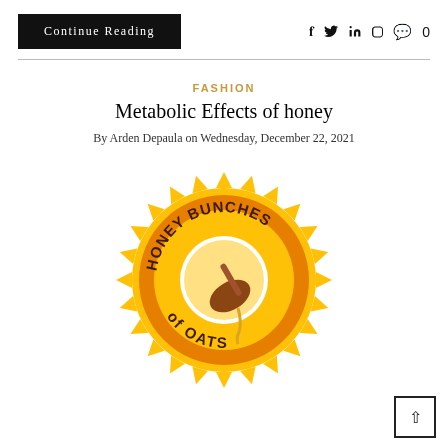Continue Reading
FASHION
Metabolic Effects of honey
By Arden Depaula on Wednesday, December 22, 2021
[Figure (logo): Honey Bunches of Oats circular logo with sunburst, showing a honey dipper dripping honey in the center, text 'HONEY BUNCHES of OATS' around the ring in dark brown on orange background]